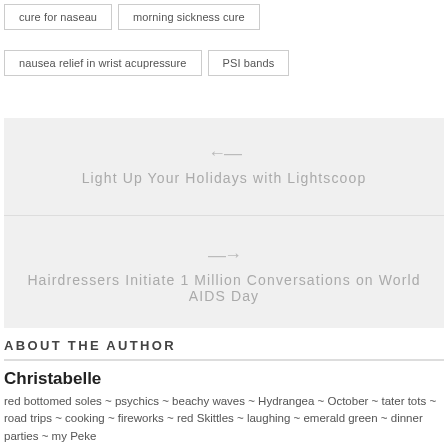cure for naseau
morning sickness cure
nausea relief in wrist acupressure
PSI bands
[Figure (other): Navigation widget with two entries: back arrow linking to 'Light Up Your Holidays with Lightscoop' and forward arrow linking to 'Hairdressers Initiate 1 Million Conversations on World AIDS Day']
ABOUT THE AUTHOR
Christabelle
red bottomed soles ~ psychics ~ beachy waves ~ Hydrangea ~ October ~ tater tots ~ road trips ~ cooking ~ fireworks ~ red Skittles ~ laughing ~ emerald green ~ dinner parties ~ my Peke